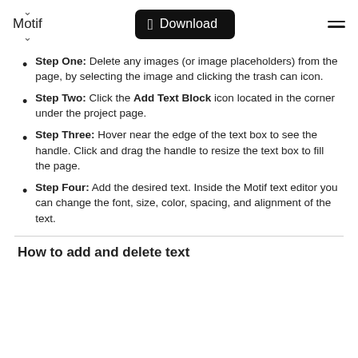Motif | Download
Step One: Delete any images (or image placeholders) from the page, by selecting the image and clicking the trash can icon.
Step Two: Click the Add Text Block icon located in the corner under the project page.
Step Three: Hover near the edge of the text box to see the handle. Click and drag the handle to resize the text box to fill the page.
Step Four: Add the desired text. Inside the Motif text editor you can change the font, size, color, spacing, and alignment of the text.
How to add and delete text